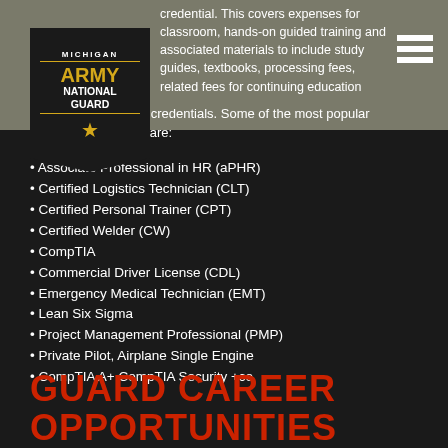[Figure (logo): Michigan Army National Guard logo with gold star on dark background]
credential. This covers expenses for classroom, hands-on guided training and associated materials to include study guides, textbooks, processing fees, related fees for continuing education and recertification of credentials. Some of the most popular certifications offered are:
Associate Professional in HR (aPHR)
Certified Logistics Technician (CLT)
Certified Personal Trainer (CPT)
Certified Welder (CW)
CompTIA
Commercial Driver License (CDL)
Emergency Medical Technician (EMT)
Lean Six Sigma
Project Management Professional (PMP)
Private Pilot, Airplane Single Engine
CompTIA A+ CompTIA Security +ce
GUARD CAREER OPPORTUNITIES